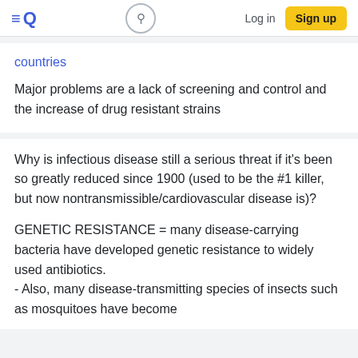≡Q  [search]  Log in  Sign up
countries
Major problems are a lack of screening and control and the increase of drug resistant strains
Why is infectious disease still a serious threat if it's been so greatly reduced since 1900 (used to be the #1 killer, but now nontransmissible/cardiovascular disease is)?
GENETIC RESISTANCE = many disease-carrying bacteria have developed genetic resistance to widely used antibiotics.
- Also, many disease-transmitting species of insects such as mosquitoes have become